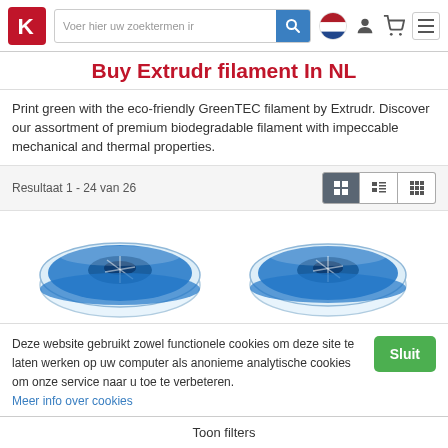Navigation bar with logo, search field, Dutch flag, user icon, cart, and hamburger menu
Buy Extrudr filament In NL
Print green with the eco-friendly GreenTEC filament by Extrudr. Discover our assortment of premium biodegradable filament with impeccable mechanical and thermal properties.
Resultaat 1 - 24 van 26
[Figure (photo): Two blue filament spools (Extrudr brand) shown side by side]
Deze website gebruikt zowel functionele cookies om deze site te laten werken op uw computer als anonieme analytische cookies om onze service naar u toe te verbeteren.
Meer info over cookies
Toon filters